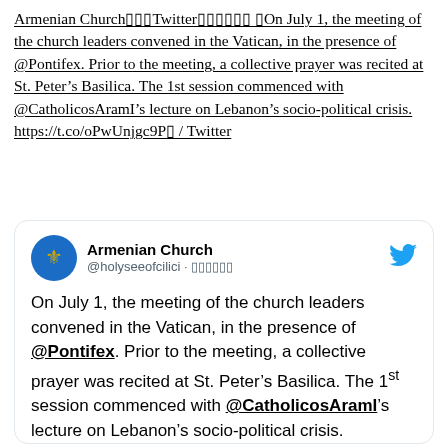Armenian Church▯▯▯Twitter▯▯▯▯▯▯ ▯On July 1, the meeting of the church leaders convened in the Vatican, in the presence of @Pontifex. Prior to the meeting, a collective prayer was recited at St. Peter’s Basilica. The 1st session commenced with @CatholicosAramI’s lecture on Lebanon’s socio-political crisis. https://t.co/oPwUnjgc9P▯ / Twitter
[Figure (screenshot): Tweet card from Armenian Church (@holyseeofcilici) with blue Twitter bird logo and gold church emblem avatar. Tweet reads: 'On July 1, the meeting of the church leaders convened in the Vatican, in the presence of @Pontifex. Prior to the meeting, a collective prayer was recited at St. Peter’s Basilica. The 1st session commenced with @CatholicosAramI’s lecture on Lebanon’s socio-political crisis.']